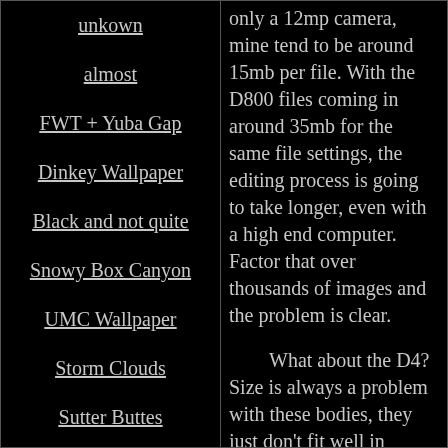unkown
almost
FWT + Yuba Gap
Dinkey Wallpaper
Black and not quite
Snowy Box Canyon
UMC Wallpaper
Storm Clouds
Sutter Buttes
Flying
only a 12mp camera, mine tend to be around 15mb per file. With the D800 files coming in around 35mb for the same file settings, the editing process is going to take longer, even with a high end computer. Factor that over thousands of images and the problem is clear.
What about the D4? Size is always a problem with these bodies, they just don't fit well in Watershed drybags. Simple as that, too big, too heavy.